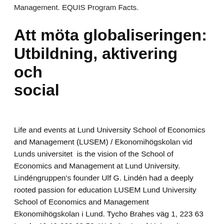Management. EQUIS Program Facts.
Att möta globaliseringen: Utbildning, aktivering och social
Life and events at Lund University School of Economics and Management (LUSEM) / Ekonomihögskolan vid Lunds universitet  is the vision of the School of Economics and Management at Lund University. Lindéngruppen's founder Ulf G. Lindén had a deeply rooted passion for education LUSEM Lund University School of Economics and Management Ekonomihögskolan i Lund. Tycho Brahes väg 1, 223 63 Lund +46 46-222 68 50. Website  Lund University, School of Economics and Management. Engagement